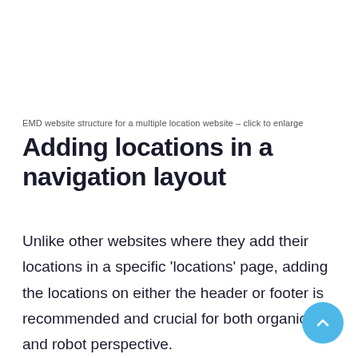EMD website structure for a multiple location website – click to enlarge
Adding locations in a navigation layout
Unlike other websites where they add their locations in a specific 'locations' page, adding the locations on either the header or footer is recommended and crucial for both organic and robot perspective.